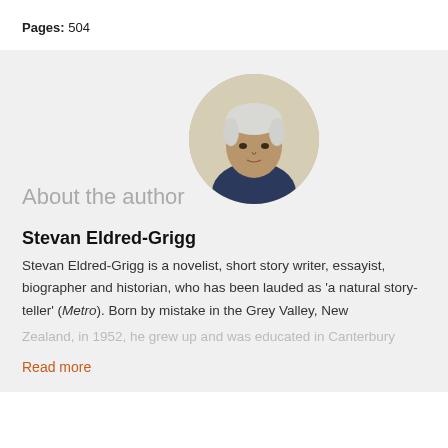Pages: 504
About the author
[Figure (photo): Circular portrait photo of author Stevan Eldred-Grigg, an older man with light grey-white hair wearing a dark blue shirt, against a light background.]
Stevan Eldred-Grigg
Stevan Eldred-Grigg is a novelist, short story writer, essayist, biographer and historian, who has been lauded as 'a natural story-teller' (Metro). Born by mistake in the Grey Valley, New Zealand, in 1952, he grew up and was educated in Canterbury
Read more